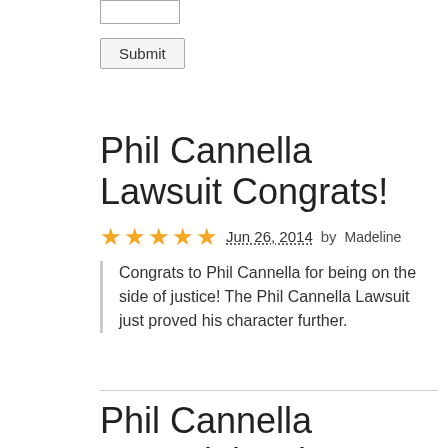[Figure (other): Input text box (form element)]
[Figure (other): Submit button (form element)]
Phil Cannella Lawsuit Congrats!
★★★★★ Jun 26, 2014 by Madeline
Congrats to Phil Cannella for being on the side of justice! The Phil Cannella Lawsuit just proved his character further.
Phil Cannella Lawsuit is a lesson
★★★★☆ Jun 26, 2014 by Andy